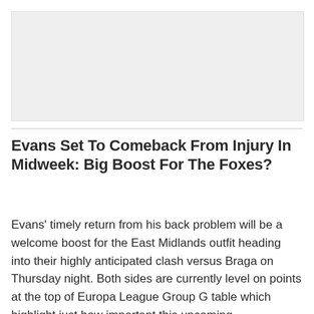[Figure (photo): Large image placeholder area, light grey background]
Evans Set To Comeback From Injury In Midweek: Big Boost For The Foxes?
Evans' timely return from his back problem will be a welcome boost for the East Midlands outfit heading into their highly anticipated clash versus Braga on Thursday night. Both sides are currently level on points at the top of Europa League Group G table which highlight just how important this upcoming